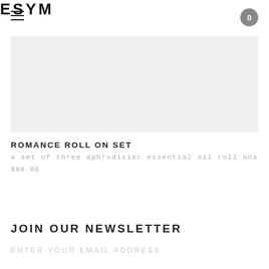ESYM
[Figure (photo): Light gray product image placeholder area]
ROMANCE ROLL ON SET
A set of three aphrodisiac essential oil roll ons
$90.00
JOIN OUR NEWSLETTER
ENTER YOUR EMAIL ADDRESS